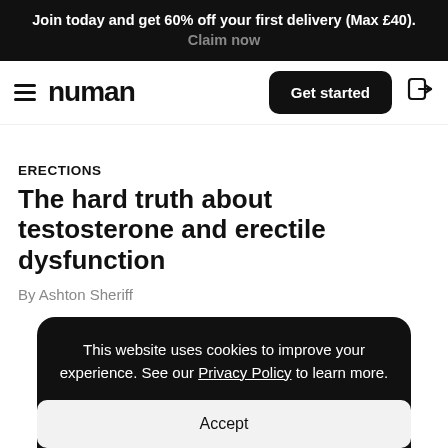Join today and get 60% off your first delivery (Max £40). Claim now
[Figure (screenshot): Numan website navigation bar with hamburger menu, logo, Get started button, and login icon]
ERECTIONS
The hard truth about testosterone and erectile dysfunction
By Ashton Sheriff
This website uses cookies to improve your experience. See our Privacy Policy to learn more.
Accept